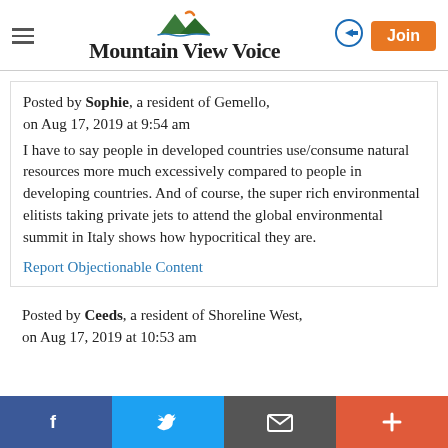Mountain View Voice
Posted by Sophie, a resident of Gemello, on Aug 17, 2019 at 9:54 am
I have to say people in developed countries use/consume natural resources more much excessively compared to people in developing countries. And of course, the super rich environmental elitists taking private jets to attend the global environmental summit in Italy shows how hypocritical they are.
Report Objectionable Content
Posted by Ceeds, a resident of Shoreline West, on Aug 17, 2019 at 10:53 am
f  Twitter  Email  +